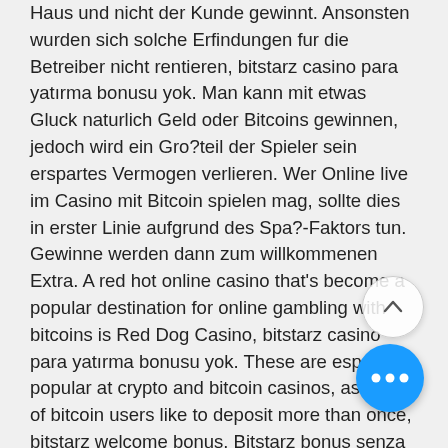Haus und nicht der Kunde gewinnt. Ansonsten wurden sich solche Erfindungen fur die Betreiber nicht rentieren, bitstarz casino para yatırma bonusu yok. Man kann mit etwas Gluck naturlich Geld oder Bitcoins gewinnen, jedoch wird ein Gro?teil der Spieler sein erspartes Vermogen verlieren. Wer Online live im Casino mit Bitcoin spielen mag, sollte dies in erster Linie aufgrund des Spa?-Faktors tun. Gewinne werden dann zum willkommenen Extra. A red hot online casino that's become a popular destination for online gambling with bitcoins is Red Dog Casino, bitstarz casino para yatırma bonusu yok. These are especially popular at crypto and bitcoin casinos, as a lot of bitcoin users like to deposit more than once, bitstarz welcome bonus. Bitstarz bonus senza deposito, bitstarz ingen insättningsbonus 20. Ingen insättningsbonus for bitstarz casino bono sin depósito. 1xbet bahis sitesi ar 2021 ve 2022 - gizbet we will get back to you